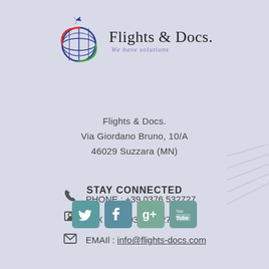[Figure (logo): Flights & Docs. logo with globe, airplane, and tagline 'We have solutions']
Flights & Docs.
Via Giordano Bruno, 10/A
46029 Suzzara (MN)
PHONE : +39 0376 532727
FAX : +39 0376 532727
EMAIl : info@flights-docs.com
STAY CONNECTED
[Figure (infographic): Social media icons: Twitter, Facebook, Google+, YouTube]